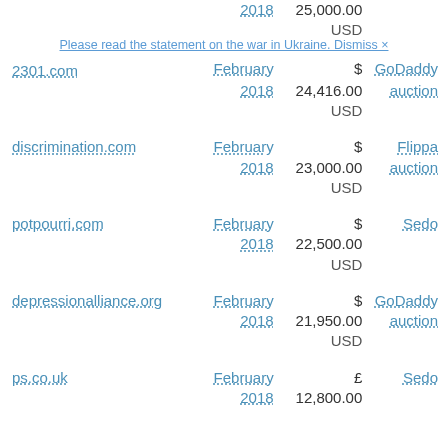| Domain | Date | Price | Venue |
| --- | --- | --- | --- |
|  | 2018 | 25,000.00 USD |  |
| 2301.com | February 2018 | $ 24,416.00 USD | GoDaddy auction |
| discrimination.com | February 2018 | $ 23,000.00 USD | Flippa auction |
| potpourri.com | February 2018 | $ 22,500.00 USD | Sedo |
| depressionalliance.org | February 2018 | $ 21,950.00 USD | GoDaddy auction |
| ps.co.uk | February 2018 | £ 12,800.00 | Sedo |
Please read the statement on the war in Ukraine. Dismiss ×